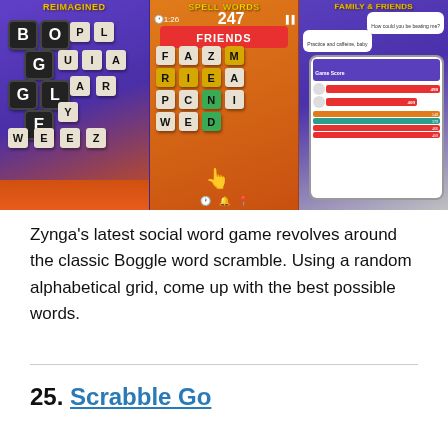[Figure (screenshot): Three screenshots of Boggle with Friends mobile game: left panel shows 'Boggle Reimagined' with letter tiles B,O,G,G,L,E on purple/orange background with Boggle with Friends logo; center panel shows game board spelling FRIENDS with letter grid F,A,Z,M,R,I,E,A,P,C,N,I,W,E,D on orange background with score 247 and timer 1:26; right panel shows multiplayer score comparison screen with chat bubbles on purple background]
Zynga's latest social word game revolves around the classic Boggle word scramble. Using a random alphabetical grid, come up with the best possible words.
25. Scrabble Go